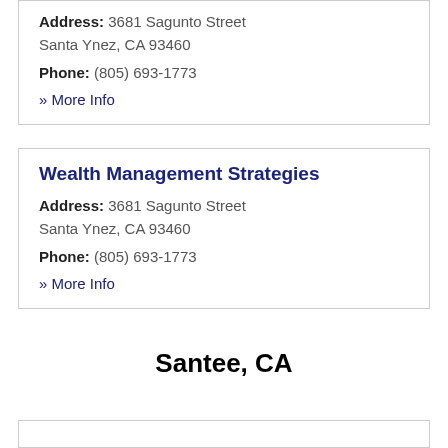Address: 3681 Sagunto Street Santa Ynez, CA 93460
Phone: (805) 693-1773
» More Info
Wealth Management Strategies
Address: 3681 Sagunto Street Santa Ynez, CA 93460
Phone: (805) 693-1773
» More Info
Santee, CA